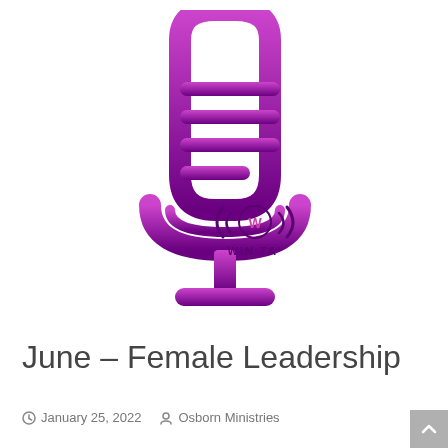[Figure (logo): Microphone icon in purple gradient with WIN TAL logo (W in circle with radio waves) in bottom right]
June – Female Leadership
January 25, 2022   Osborn Ministries